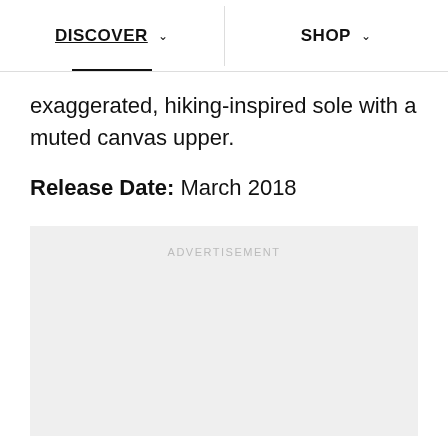DISCOVER  SHOP
exaggerated, hiking-inspired sole with a muted canvas upper.
Release Date: March 2018
[Figure (other): Advertisement placeholder box with light gray background and 'ADVERTISEMENT' label in light gray text]